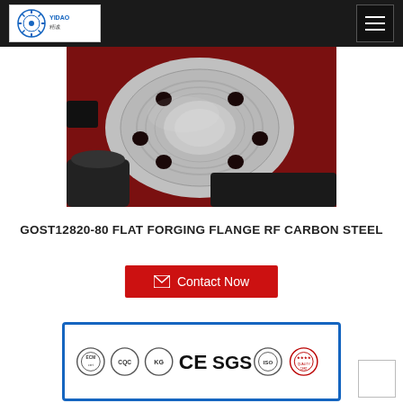YIDAO logo | navigation menu
[Figure (photo): Close-up photo of a metallic flat forging flange (GOST12820-80 RF Carbon Steel) showing bolt holes and raised face surface, with black pipe fittings on a dark red background.]
GOST12820-80 FLAT FORGING FLANGE RF CARBON STEEL
[Figure (infographic): Red button labeled 'Contact Now' with envelope icon.]
[Figure (infographic): Certification logos banner in blue border frame showing: ECM, CQC, KG, CE, SGS, ISO, and quality certification badges.]